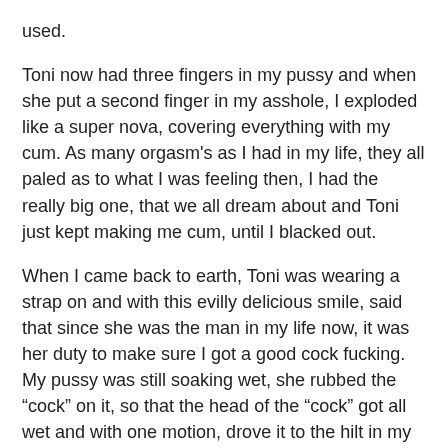used.
Toni now had three fingers in my pussy and when she put a second finger in my asshole, I exploded like a super nova, covering everything with my cum. As many orgasm's as I had in my life, they all paled as to what I was feeling then, I had the really big one, that we all dream about and Toni just kept making me cum, until I blacked out.
When I came back to earth, Toni was wearing a strap on and with this evilly delicious smile, said that since she was the man in my life now, it was her duty to make sure I got a good cock fucking. My pussy was still soaking wet, she rubbed the “cock” on it, so that the head of the “cock” got all wet and with one motion, drove it to the hilt in my still boiling pussy.
I didn't know what felt better, having a hard cock in my